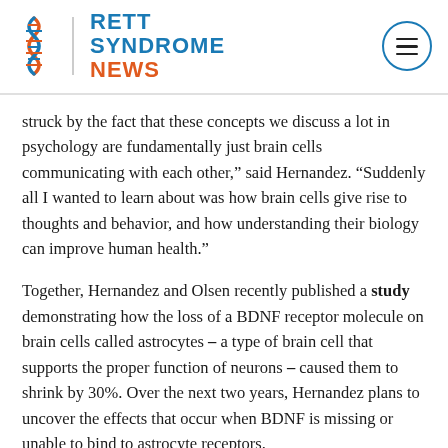RETT SYNDROME NEWS
struck by the fact that these concepts we discuss a lot in psychology are fundamentally just brain cells communicating with each other,” said Hernandez. “Suddenly all I wanted to learn about was how brain cells give rise to thoughts and behavior, and how understanding their biology can improve human health.”
Together, Hernandez and Olsen recently published a study demonstrating how the loss of a BDNF receptor molecule on brain cells called astrocytes — a type of brain cell that supports the proper function of neurons — caused them to shrink by 30%. Over the next two years, Hernandez plans to uncover the effects that occur when BDNF is missing or unable to bind to astrocyte receptors.